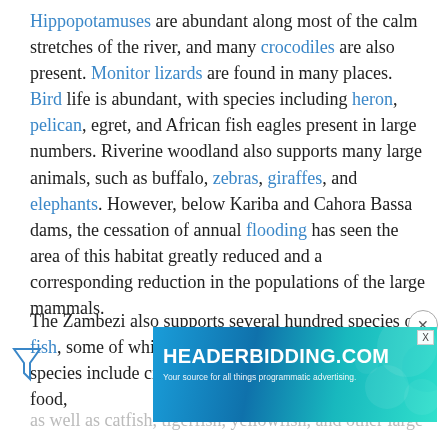Hippopotamuses are abundant along most of the calm stretches of the river, and many crocodiles are also present. Monitor lizards are found in many places. Bird life is abundant, with species including heron, pelican, egret, and African fish eagles present in large numbers. Riverine woodland also supports many large animals, such as buffalo, zebras, giraffes, and elephants. However, below Kariba and Cahora Bassa dams, the cessation of annual flooding has seen the area of this habitat greatly reduced and a corresponding reduction in the populations of the large mammals.

The Zambezi also supports several hundred species of fish, some of which are endemic to the river. Important species include cichlids which are fished heavily for food, as well as catfish, tigerfish, yellowfish, and other large species... Zambezi... world. It normally inhabits coastal waters but has been
[Figure (other): Advertisement banner for HEADERBIDDING.COM with blue/teal gradient background and text 'Your source for all things programmatic advertising.']